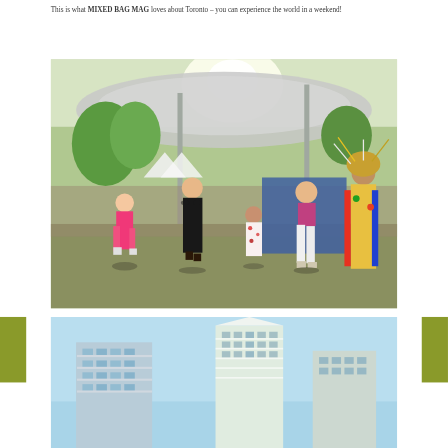This is what MIXED BAG MAG loves about Toronto – you can experience the world in a weekend!
[Figure (photo): Outdoor festival scene showing a child in pink, a woman in black dress, a small child in floral dress, a woman in white pants and pink top, and a person in Indigenous regalia, all dancing/holding hands on a sunny day with tents and trees in background.]
[Figure (photo): Modern condominium buildings with glass balconies photographed against a clear blue sky.]